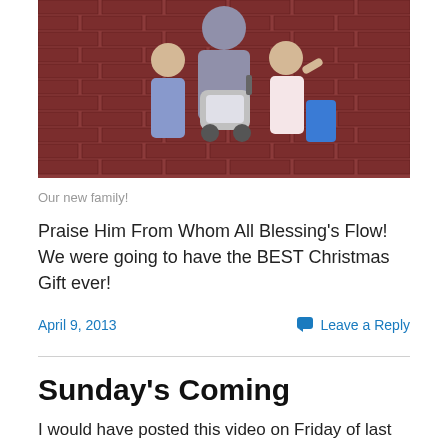[Figure (photo): Family photo in front of a brick wall. An adult stands behind two children, with a baby stroller/car seat in the center. A girl on the right waves at the camera.]
Our new family!
Praise Him From Whom All Blessing's Flow! We were going to have the BEST Christmas Gift ever!
April 9, 2013
Leave a Reply
Sunday's Coming
I would have posted this video on Friday of last week but it is used so often at Easter. This video comes to my mind as